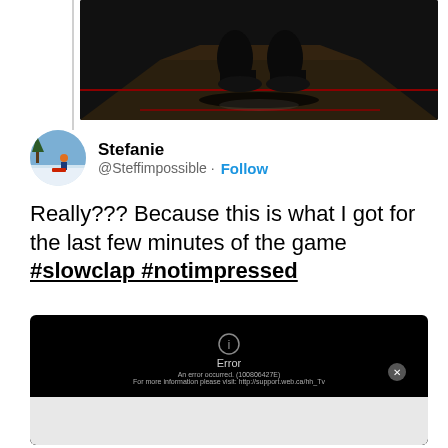[Figure (photo): Dark photo of feet/shoes standing on a hockey rink floor, partially cropped at top of page]
Stefanie @Steffimpossible · Follow
Really??? Because this is what I got for the last few minutes of the game #slowclap #notimpressed
[Figure (screenshot): Black video player error screen showing an error icon, 'Error' text, error code message, and a white dialog box at the bottom]